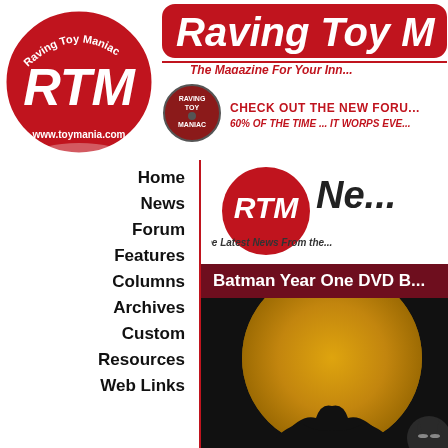[Figure (logo): RTM Raving Toy Maniac red oval logo with white RTM text and www.toymania.com]
[Figure (logo): Raving Toy Maniac banner with red rounded rectangle, white italic text 'Raving Toy M...' and red tagline 'The Magazine For Your Inn...']
[Figure (logo): Small Raving Toy Maniac circular badge logo]
CHECK OUT THE NEW FORU...
60% OF THE TIME ... IT WORPS EVE...
Home
News
Forum
Features
Columns
Archives
Custom
Resources
Web Links
[Figure (logo): RTM News logo with red circle and white bold text 'RTM Ne...' and 'The Latest News From the...']
Batman Year One DVD B...
[Figure (photo): Batman Year One DVD promotional image showing Batman silhouette against large yellow moon on black background]